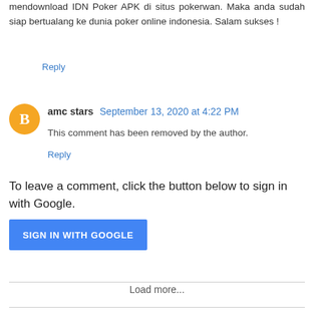mendownload IDN Poker APK di situs pokerwan. Maka anda sudah siap bertualang ke dunia poker online indonesia. Salam sukses !
Reply
amc stars September 13, 2020 at 4:22 PM
This comment has been removed by the author.
Reply
To leave a comment, click the button below to sign in with Google.
[Figure (other): SIGN IN WITH GOOGLE button — blue rounded rectangle with white text]
Load more...